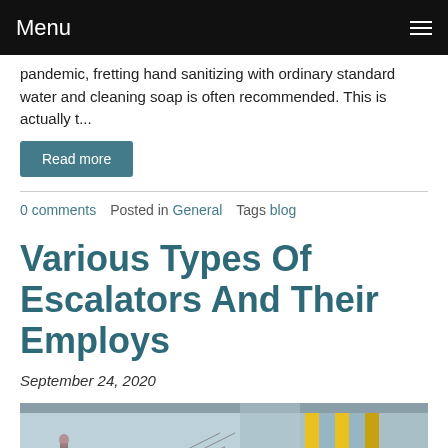Menu
pandemic, fretting hand sanitizing with ordinary standard water and cleaning soap is often recommended. This is actually t...
Read more
0 comments   Posted in General   Tags blog
Various Types Of Escalators And Their Employs
September 24, 2020
[Figure (photo): Photo of an escalator in a large building with yellow metal framing and glass panels, interior with natural light.]